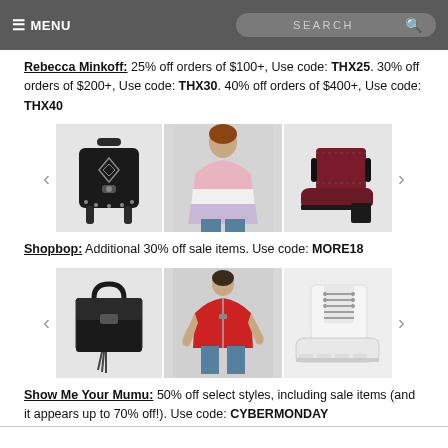≡ MENU   SEARCH 🔍
Rebecca Minkoff: 25% off orders of $100+, Use code: THX25. 30% off orders of $200+, Use code: THX30. 40% off orders of $400+, Use code: THX40
[Figure (photo): Carousel with 3 product images: black quilted backpack, colorblock fur jacket (pink/white/lavender), dark red ankle boot with block heel]
Shopbop: Additional 30% off sale items. Use code: MORE18
[Figure (photo): Carousel with 3 product images: black structured handbag with tassel, red faux fur zip jacket on model, white lug-sole hiking boots]
Show Me Your Mumu: 50% off select styles, including sale items (and it appears up to 70% off!). Use code: CYBERMONDAY